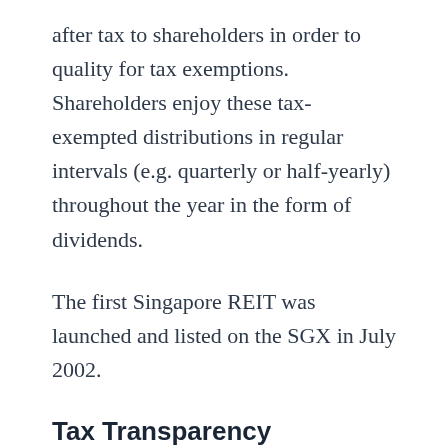after tax to shareholders in order to quality for tax exemptions. Shareholders enjoy these tax-exempted distributions in regular intervals (e.g. quarterly or half-yearly) throughout the year in the form of dividends.
The first Singapore REIT was launched and listed on the SGX in July 2002.
Tax Transparency Treatment
REITs provide investors with a means of investing in real estate without having to directly hold illiquid property assets. In